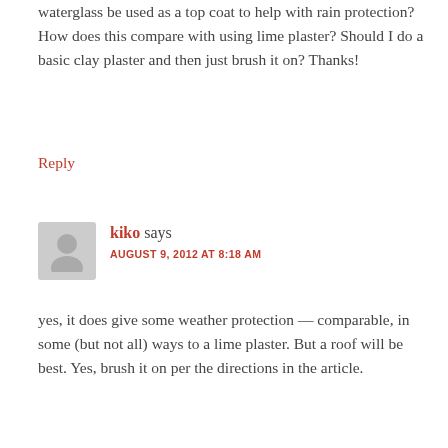waterglass be used as a top coat to help with rain protection? How does this compare with using lime plaster? Should I do a basic clay plaster and then just brush it on? Thanks!
Reply
kiko says
AUGUST 9, 2012 AT 8:18 AM
yes, it does give some weather protection — comparable, in some (but not all) ways to a lime plaster. But a roof will be best. Yes, brush it on per the directions in the article.